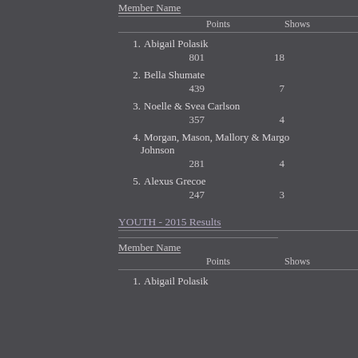Member Name
|  | Points | Shows |
| --- | --- | --- |
| 1. Abigail Polasik | 801 | 18 |
| 2. Bella Shumate | 439 | 7 |
| 3. Noelle & Svea Carlson | 357 | 4 |
| 4. Morgan, Mason, Mallory & Margo Johnson | 281 | 4 |
| 5. Alexus Grecoe | 247 | 3 |
YOUTH - 2015 Results
Member Name
|  | Points | Shows |
| --- | --- | --- |
| 1. Abigail Polasik |  |  |